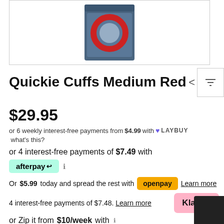[Figure (photo): Product photo of Quickie Cuffs Medium Red in blue/red packaging on white background]
Quickie Cuffs Medium Red
$29.95
or 6 weekly interest-free payments from $4.99 with LAYBUY what's this?
or 4 interest-free payments of $7.49 with afterpay
Or $5.99 today and spread the rest with openpay Learn more
4 interest-free payments of $7.48. Learn more Klarna.
or Zip it from $10/week with